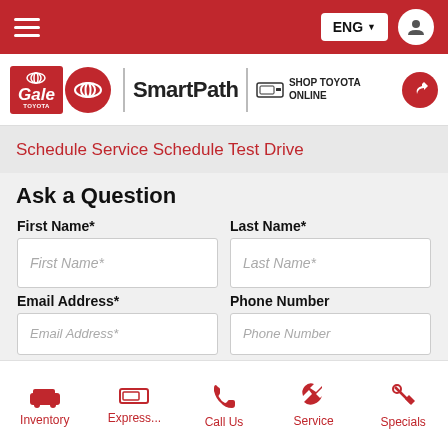ENG
[Figure (logo): Gale Toyota SmartPath logo with Shop Toyota Online link]
Schedule Service
Schedule Test Drive
Ask a Question
First Name* | Last Name* | Email Address* | Phone Number form fields
Inventory | Express... | Call Us | Service | Specials